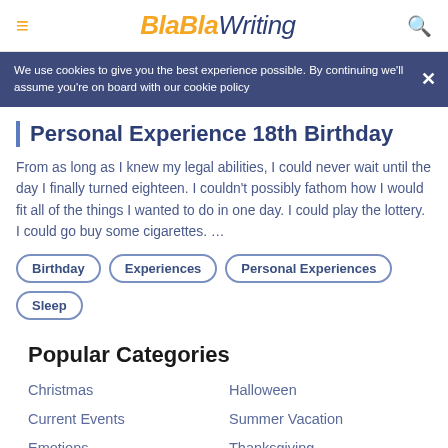BlaBlaWriting
We use cookies to give you the best experience possible. By continuing we'll assume you're on board with our cookie policy
Personal Experience 18th Birthday
From as long as I knew my legal abilities, I could never wait until the day I finally turned eighteen. I couldn't possibly fathom how I would fit all of the things I wanted to do in one day. I could play the lottery. I could go buy some cigarettes. …
Birthday
Experiences
Personal Experiences
Sleep
Popular Categories
Christmas
Halloween
Current Events
Summer Vacation
Emotions
Thanksgiving